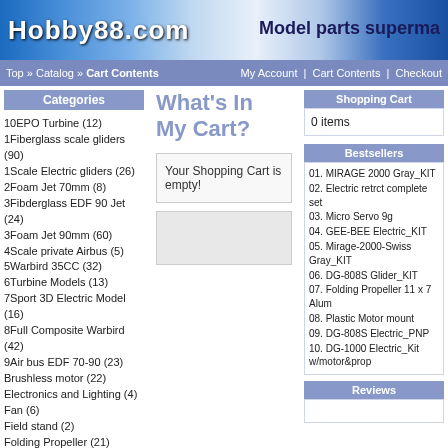Hobby88.com — Model parts superma...
Top » Catalog » Cart Contents | My Account | Cart Contents | Checkout
Categories
10EPO Turbine (12)
1Fiberglass scale gliders (90)
1Scale Electric gliders (26)
2Foam Jet 70mm (8)
3Fibderglass EDF 90 Jet (24)
3Foam Jet 90mm (60)
4Scale private Airbus (5)
5Warbird 35CC (32)
6Turbine Models (13)
7Sport 3D Electric Model (16)
8Full Composite Warbird (42)
9Air bus EDF 70-90 (23)
Brushless motor (22)
Electronics and Lighting (4)
Fan (6)
Field stand (2)
Folding Propeller (21)
Multi-axis airplanes Fiber (8)
Parts (16)
Parts for EDF Jet Model
Parts for Glier Model (52)
Power system for
What's In My Cart?
Your Shopping Cart is empty!
Shopping Cart
0 items
Bestsellers
01. MIRAGE 2000 Gray_KIT
02. Electric retrct complete set
03. Micro Servo 9g
04. GEE-BEE Electric_KIT
05. Mirage-2000-Swiss Gray_KIT
06. DG-808S Glider_KIT
07. Folding Propeller 11 x 7 Alum
08. Plastic Motor mount
09. DG-808S Electric_PNP
10. DG-1000 Electric_Kit w/motor&prop
Reviews